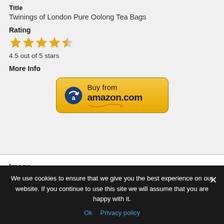Title
Twinings of London Pure Oolong Tea Bags
Rating
[Figure (other): 4.5 out of 5 stars shown as star icons (4 filled, 1 half-filled)]
4.5 out of 5 stars
More Info
[Figure (other): Buy from amazon.com button with Amazon logo icon]
Image
We use cookies to ensure that we give you the best experience on our website. If you continue to use this site we will assume that you are happy with it.
Ok   Privacy policy